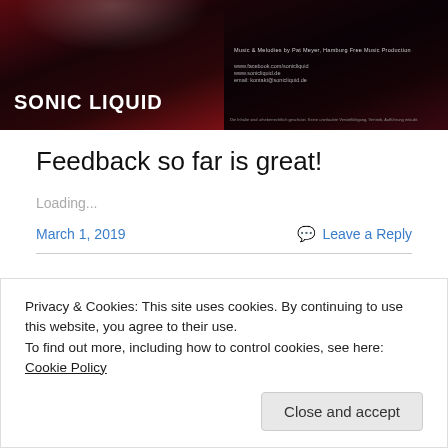[Figure (photo): Two dark-background promotional images side by side. Left image shows 'SONIC LiQUID' text in white bold font on a dark red/black background with a partial face. Right image shows website links and contact info on dark background.]
Feedback so far is great!
Loading...
March 1, 2019
Leave a Reply
Privacy & Cookies: This site uses cookies. By continuing to use this website, you agree to their use.
To find out more, including how to control cookies, see here: Cookie Policy
Close and accept
songs of my band SONIC LiQUID is now available in all